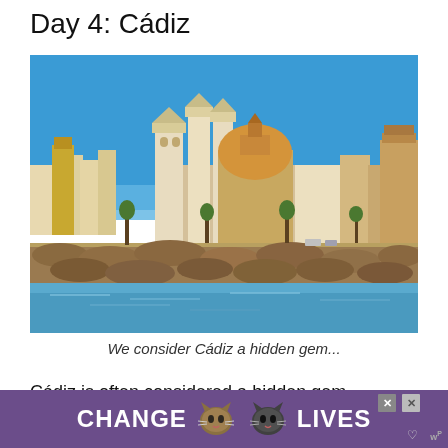Day 4: Cádiz
[Figure (photo): Panoramic view of Cádiz, Spain from the water, showing the cathedral with its golden dome and white baroque towers, other historic buildings along the waterfront, and a rocky seawall in the foreground under a bright blue sky.]
We consider Cádiz a hidden gem...
Cádiz is often considered a hidden gem
[Figure (infographic): Advertisement banner with purple background reading 'CHANGE LIVES' with two cat face icons in the center. Has close (×) buttons in the upper right area.]